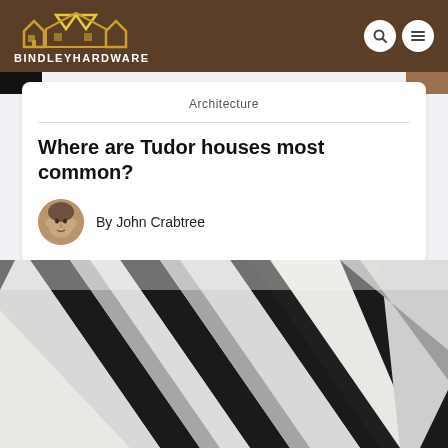BINDLEYHARDWARE
Architecture
Where are Tudor houses most common?
By John Crabtree
[Figure (photo): Close-up photograph of black and white Tudor-style half-timbering on a building facade, showing diagonal black beams against white render]